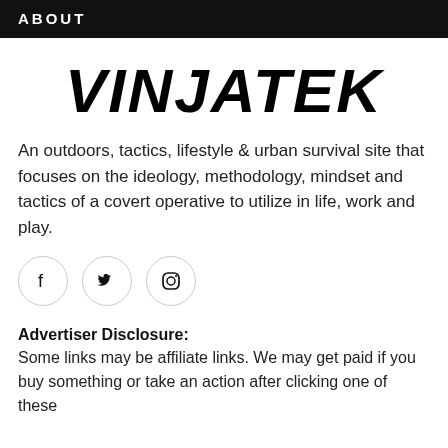ABOUT
[Figure (logo): VINJATEK logo in large black bold italic text]
An outdoors, tactics, lifestyle & urban survival site that focuses on the ideology, methodology, mindset and tactics of a covert operative to utilize in life, work and play.
[Figure (other): Social media icons: Facebook, Twitter, Instagram in circular bordered buttons]
Advertiser Disclosure:
Some links may be affiliate links. We may get paid if you buy something or take an action after clicking one of these